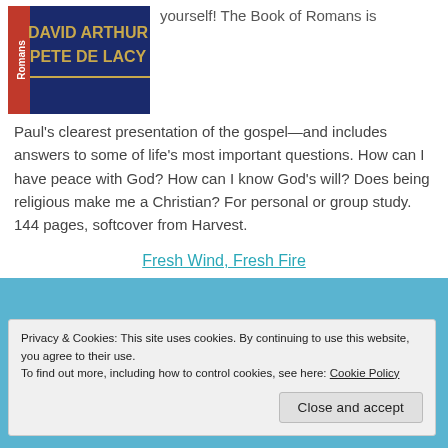[Figure (illustration): Book cover for Romans by David Arthur Pete De Lacy. Dark blue background with gold author text and red spine label reading 'Romans'.]
yourself! The Book of Romans is Paul's clearest presentation of the gospel—and includes answers to some of life's most important questions. How can I have peace with God? How can I know God's will? Does being religious make me a Christian? For personal or group study. 144 pages, softcover from Harvest.
Fresh Wind, Fresh Fire
Privacy & Cookies: This site uses cookies. By continuing to use this website, you agree to their use.
To find out more, including how to control cookies, see here: Cookie Policy
Close and accept